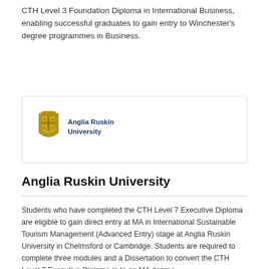CTH Level 3 Foundation Diploma in International Business, enabling successful graduates to gain entry to Winchester's degree programmes in Business.
[Figure (logo): Anglia Ruskin University logo with crest and text]
Anglia Ruskin University
Students who have completed the CTH Level 7 Executive Diploma are eligible to gain direct entry at MA in International Sustainable Tourism Management (Advanced Entry) stage at Anglia Ruskin University in Chelmsford or Cambridge. Students are required to complete three modules and a Dissertation to convert the CTH Level 7 Executive Diploma in to an MA degree.